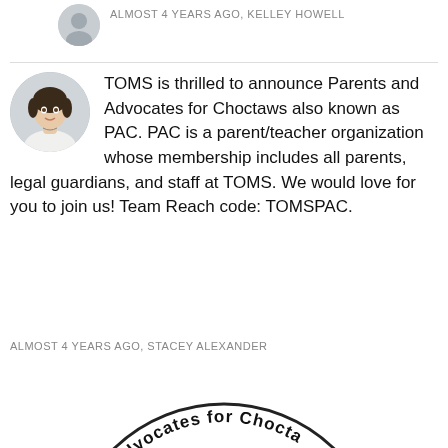ALMOST 4 YEARS AGO, KELLEY HOWELL
TOMS is thrilled to announce Parents and Advocates for Choctaws also known as PAC. PAC is a parent/teacher organization whose membership includes all parents, legal guardians, and staff at TOMS. We would love for you to join us! Team Reach code: TOMSPAC.
ALMOST 4 YEARS AGO, STACEY ALEXANDER
[Figure (logo): Circular logo for Parents & Advocates for Choctaws (PAC) showing curved text around a circle with an orange arrow/swoosh graphic in the center]